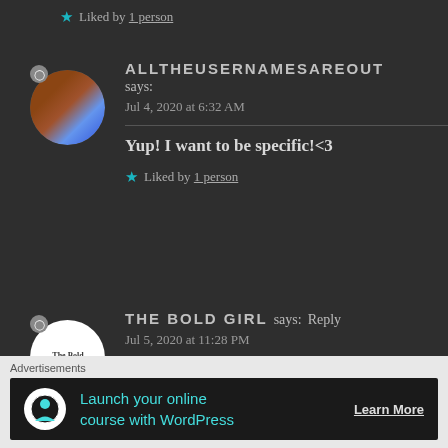★ Liked by 1 person
ALLTHEUSERNAMESAREOUT says: Jul 4, 2020 at 6:32 AM
Yup! I want to be specific!<3
★ Liked by 1 person
THE BOLD GIRL says: Reply Jul 5, 2020 at 11:28 PM
Advertisements
Launch your online course with WordPress Learn More